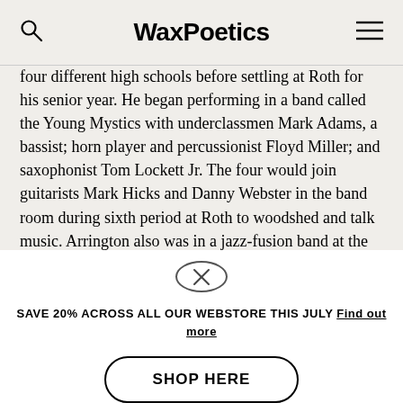WaxPoetics
four different high schools before settling at Roth for his senior year. He began performing in a band called the Young Mystics with underclassmen Mark Adams, a bassist; horn player and percussionist Floyd Miller; and saxophonist Tom Lockett Jr. The four would join guitarists Mark Hicks and Danny Webster in the band room during sixth period at Roth to woodshed and talk music. Arrington also was in a jazz-fusion band at the time with keyboardist Carter Bradley,
SAVE 20% ACROSS ALL OUR WEBSTORE THIS JULY Find out more
SHOP HERE